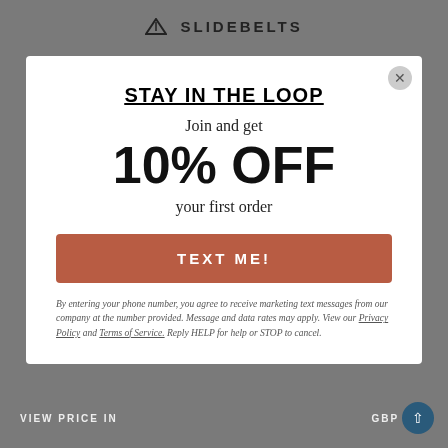SLIDEBELTS
STAY IN THE LOOP
Join and get
10% OFF
your first order
TEXT ME!
By entering your phone number, you agree to receive marketing text messages from our company at the number provided. Message and data rates may apply. View our Privacy Policy and Terms of Service. Reply HELP for help or STOP to cancel.
VIEW PRICE IN GBP £